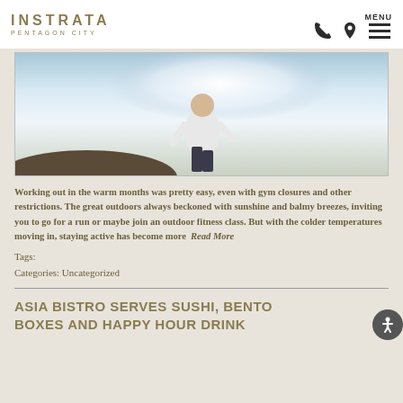INSTRATA PENTAGON CITY
[Figure (photo): Person running outdoors, viewed from below against a bright sky with sunlight]
Working out in the warm months was pretty easy, even with gym closures and other restrictions. The great outdoors always beckoned with sunshine and balmy breezes, inviting you to go for a run or maybe join an outdoor fitness class. But with the colder temperatures moving in, staying active has become more  Read More
Tags:
Categories: Uncategorized
ASIA BISTRO SERVES SUSHI, BENTO BOXES AND HAPPY HOUR DRINK